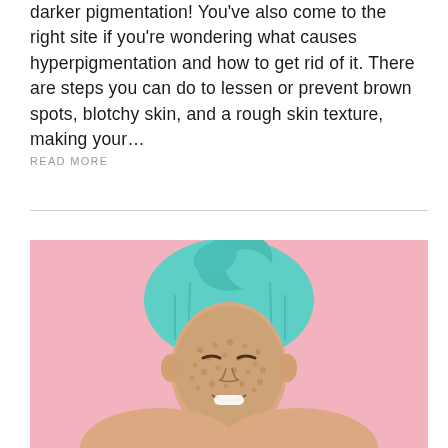darker pigmentation! You've also come to the right site if you're wondering what causes hyperpigmentation and how to get rid of it. There are steps you can do to lessen or prevent brown spots, blotchy skin, and a rough skin texture, making your…
READ MORE
[Figure (photo): Woman with teal towel wrapped around her head and a grainy scrub mask on her face, smiling with eyes closed against a pink background]